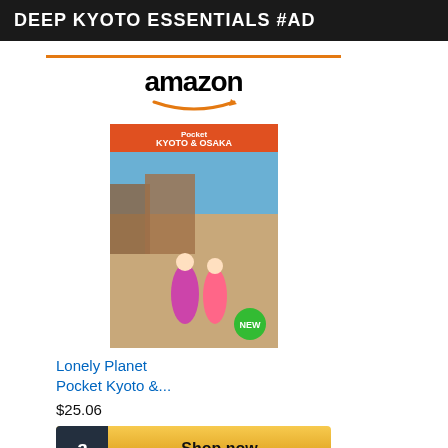DEEP KYOTO ESSENTIALS #AD
[Figure (screenshot): Amazon ad widget showing Lonely Planet Pocket Kyoto & Osaka book with Amazon logo, book cover image, price $25.06, and Shop now button]
[Figure (screenshot): Second Amazon ad widget showing Kyoto: Seven book with dark cover image and Amazon logo]